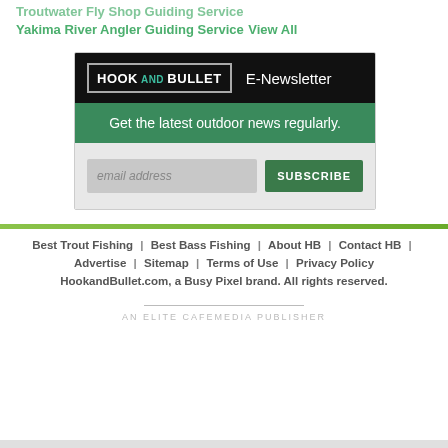Troutwater Fly Shop Guiding Service
Yakima River Angler Guiding Service
View All
[Figure (infographic): Hook and Bullet E-Newsletter signup widget. Black header with Hook&Bullet logo and 'E-Newsletter' text. Green bar with 'Get the latest outdoor news regularly.' Email input field and green SUBSCRIBE button.]
Best Trout Fishing | Best Bass Fishing | About HB | Contact HB | Advertise | Sitemap | Terms of Use | Privacy Policy HookandBullet.com, a Busy Pixel brand. All rights reserved.
AN ELITE CAFEMEDIA PUBLISHER